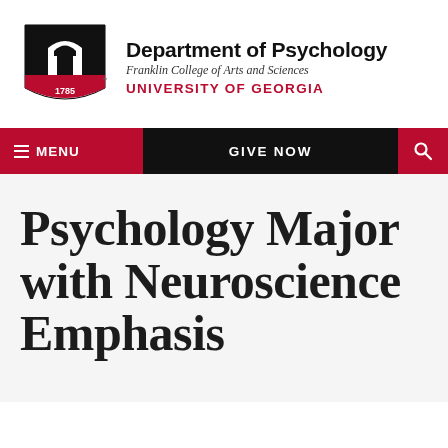[Figure (logo): University of Georgia arch logo with red shield and 1785 date]
Department of Psychology
Franklin College of Arts and Sciences
UNIVERSITY OF GEORGIA
MENU   GIVE NOW
Psychology Major with Neuroscience Emphasis